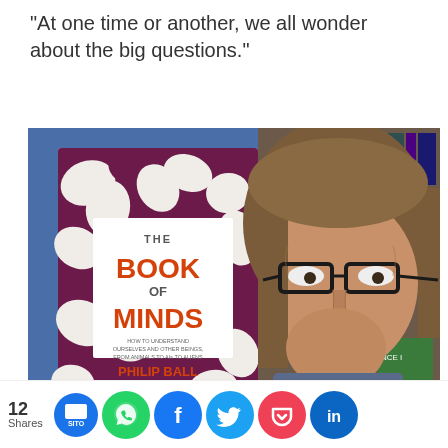“At one time or another, we all wonder about the big questions.”
[Figure (photo): Photo of author Philip Ball alongside the cover of his book 'The Book of Minds' featuring a purple and white swirling pattern cover design with orange title text.]
[Figure (infographic): Social share bar showing 12 Shares with icons for Sito, WhatsApp, Facebook, Twitter, Pocket, and LinkedIn]